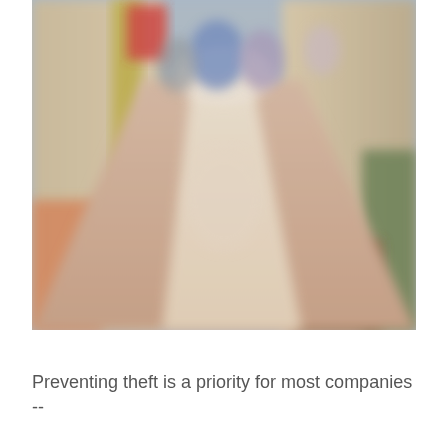[Figure (photo): Blurred photo of a shopping mall corridor with storefronts, shoppers walking, and a wooden floor with a light-colored stripe down the center. Image is out of focus with warm tones.]
Preventing theft is a priority for most companies --